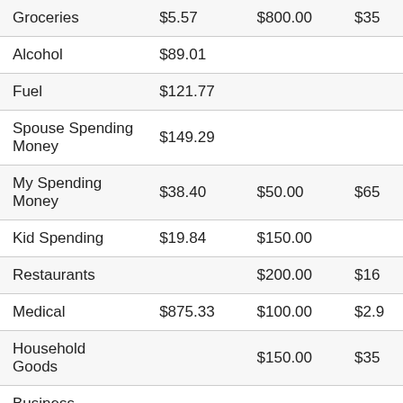| Category | Amount 1 | Amount 2 | Amount 3 |
| --- | --- | --- | --- |
| Groceries | $5.57 | $800.00 | $35 |
| Alcohol | $89.01 |  |  |
| Fuel | $121.77 |  |  |
| Spouse Spending Money | $149.29 |  |  |
| My Spending Money | $38.40 | $50.00 | $65 |
| Kid Spending | $19.84 | $150.00 |  |
| Restaurants |  | $200.00 | $16 |
| Medical | $875.33 | $100.00 | $2.9 |
| Household Goods |  | $150.00 | $35 |
| Business expenses | $170.48 |  |  |
| Pet Spending | $150.64 | $80.00 |  |